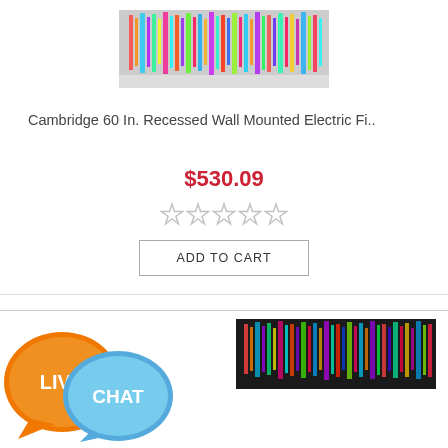[Figure (photo): Electric fireplace product photo showing colorful rainbow/holographic flame effect against a light gray background]
Cambridge 60 In. Recessed Wall Mounted Electric Fi..
$530.09
[Figure (other): Five empty/unrated gray star icons for product rating]
ADD TO CART
[Figure (illustration): Live Chat button with orange speech bubble labeled LIVE and blue speech bubble labeled CHAT]
[Figure (photo): Second electric fireplace product photo partially visible at bottom, dark background with colorful flame effect]